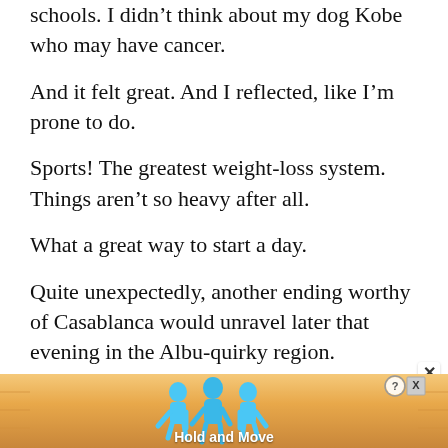schools. I didn't think about my dog Kobe who may have cancer.
And it felt great. And I reflected, like I'm prone to do.
Sports! The greatest weight-loss system. Things aren't so heavy after all.
What a great way to start a day.
Quite unexpectedly, another ending worthy of Casablanca would unravel later that evening in the Albu-quirky region.
Page 1 of 89: Not Scared, Wider Expectations
[Figure (screenshot): Mobile advertisement banner at bottom of page showing 'Hold and Move' app/game with cartoon blue figures and a wooden board. Has help (?) and close (X) buttons in top right of ad. A separate white close X button appears above the ad on the right side.]